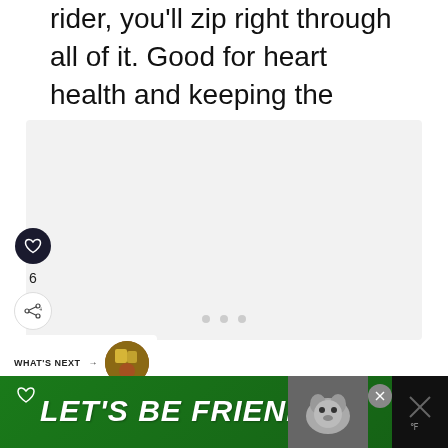rider, you'll zip right through all of it. Good for heart health and keeping the force off your joints as running would do.
[Figure (photo): Light gray placeholder image area for an embedded photo or carousel]
[Figure (infographic): Social interaction sidebar with heart/like button, count of 6, and share button with plus icon]
6
[Figure (infographic): Carousel dots row: three gray dots indicating image carousel position]
[Figure (infographic): WHAT'S NEXT card with thumbnail showing 15 London Christmas...]
[Figure (infographic): Advertisement banner: LET'S BE FRIENDS with green background, dog image, and close button]